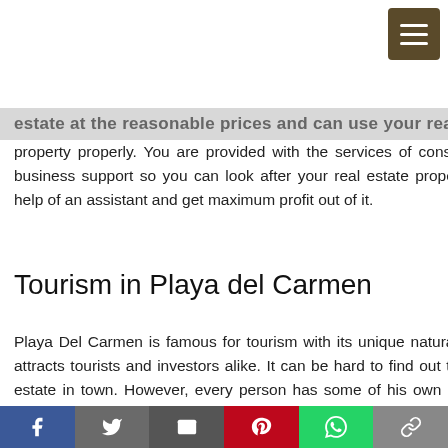estate at the reasonable prices and can use your real esta
property properly. You are provided with the services of consultation and business support so you can look after your real estate property with the help of an assistant and get maximum profit out of it.
Tourism in Playa del Carmen
Playa Del Carmen is famous for tourism with its unique natural bliss. This attracts tourists and investors alike. It can be hard to find out the best real estate in town. However, every person has some of his own benefits and ideas so; it is easy for you to locate the potential property sites to get a real estate property for you. Even if you are not interested in having a business in town because you do not have much time to look after it then the property will come to your use and you can cash it in as a long-term investment. Due to the touristic nature of the town, it is not possible that the desire o
Facebook  Twitter  Email  Pinterest  WhatsApp  Link